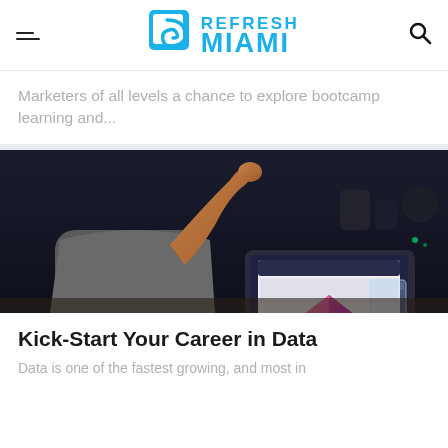Refresh Miami
Marketers of all levels a chance to explore bootcamp learning and...
[Figure (photo): Person sitting at a desk gesturing with hand raised, with a laptop open showing a colorful 3D model on screen, and a glass of water on the desk.]
Kick-Start Your Career in Data
Data is one of the fastest growing, and most in